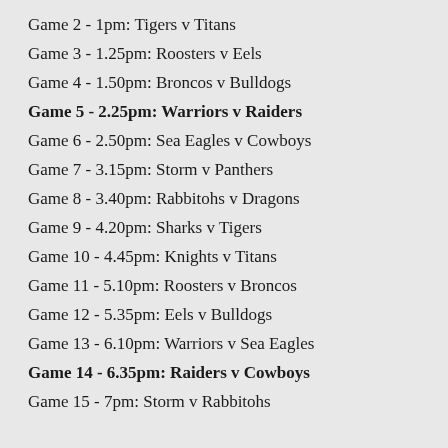Game 2 - 1pm: Tigers v Titans
Game 3 - 1.25pm: Roosters v Eels
Game 4 - 1.50pm: Broncos v Bulldogs
Game 5 - 2.25pm: Warriors v Raiders
Game 6 - 2.50pm: Sea Eagles v Cowboys
Game 7 - 3.15pm: Storm v Panthers
Game 8 - 3.40pm: Rabbitohs v Dragons
Game 9 - 4.20pm: Sharks v Tigers
Game 10 - 4.45pm: Knights v Titans
Game 11 - 5.10pm: Roosters v Broncos
Game 12 - 5.35pm: Eels v Bulldogs
Game 13 - 6.10pm: Warriors v Sea Eagles
Game 14 - 6.35pm: Raiders v Cowboys
Game 15 - 7pm: Storm v Rabbitohs